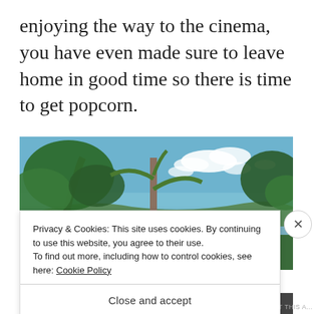enjoying the way to the cinema, you have even made sure to leave home in good time so there is time to get popcorn.
[Figure (photo): Tropical landscape photo showing large trees in the foreground, a calm bay or lake in the middle distance, and green hills under a partly cloudy blue sky.]
Privacy & Cookies: This site uses cookies. By continuing to use this website, you agree to their use.
To find out more, including how to control cookies, see here: Cookie Policy
Close and accept